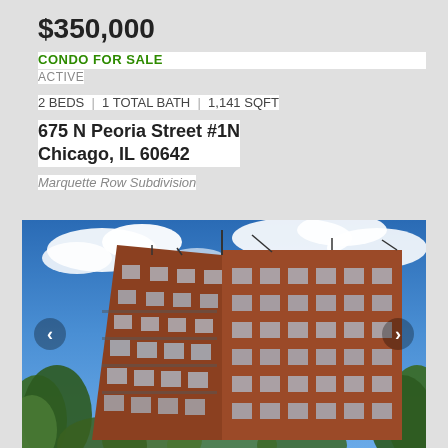$350,000
CONDO FOR SALE
ACTIVE
2 BEDS | 1 TOTAL BATH | 1,141 SQFT
675 N Peoria Street #1N
Chicago, IL 60642
Marquette Row Subdivision
[Figure (photo): Exterior photo of a multi-story red brick condominium building with balconies, surrounded by green trees, photographed from below against a blue sky with white clouds. Navigation arrows visible on left and right sides.]